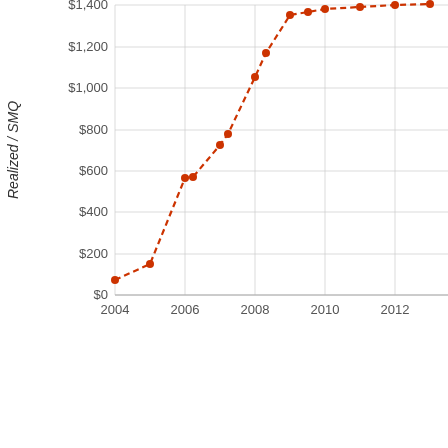[Figure (continuous-plot): A dashed line chart showing cumulative realized/SMQ values from 2004 to 2013+. The line starts near $75 in 2004, rises steeply through 2008 reaching ~$1,100-$1,150, then flattens near $1,400 by 2010-2013.]